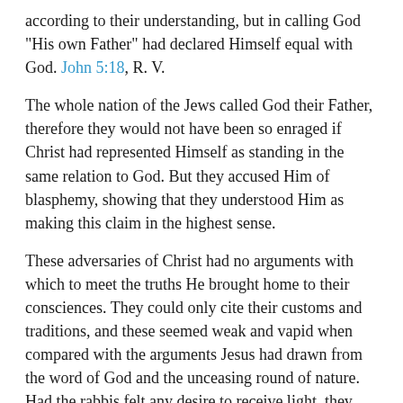according to their understanding, but in calling God "His own Father" had declared Himself equal with God. John 5:18, R. V.
The whole nation of the Jews called God their Father, therefore they would not have been so enraged if Christ had represented Himself as standing in the same relation to God. But they accused Him of blasphemy, showing that they understood Him as making this claim in the highest sense.
These adversaries of Christ had no arguments with which to meet the truths He brought home to their consciences. They could only cite their customs and traditions, and these seemed weak and vapid when compared with the arguments Jesus had drawn from the word of God and the unceasing round of nature. Had the rabbis felt any desire to receive light, they would have been convinced that Jesus spoke the truth. But they evaded the points He made concerning the Sabbath, and sought to stir up anger